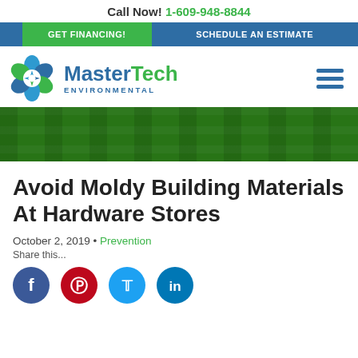Call Now! 1-609-948-8844
GET FINANCING! | SCHEDULE AN ESTIMATE
[Figure (logo): MasterTech Environmental logo with flower icon and company name]
[Figure (photo): Green hero banner image showing building exterior windows]
Avoid Moldy Building Materials At Hardware Stores
October 2, 2019 • Prevention
Share this...
[Figure (infographic): Social media sharing icons: Facebook, Pinterest, Twitter, LinkedIn]